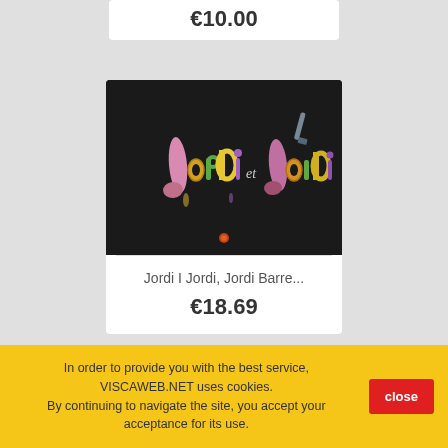€10.00
[Figure (photo): Book cover with dark background showing colorful illustrated text 'Jordi i Jordi' in playful artistic lettering on black background]
Jordi I Jordi, Jordi Barre...
€18.69
In order to provide you with the best service, VISCAWEB.NET uses cookies. By continuing to navigate the site, you accept your acceptance for its use.
close